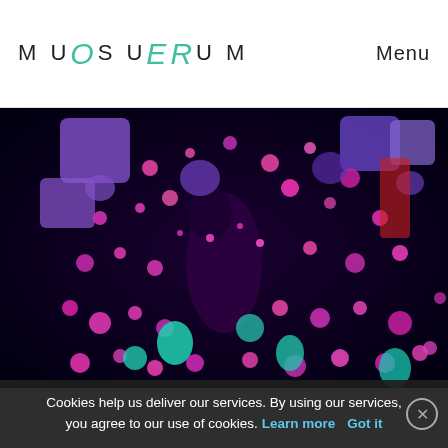19.11.2018
MUOSUERUM
Menu
[Figure (photo): Dark immersive art installation with colorful glowing light orbs and squares in pink, purple, blue and cyan colors floating in a black space, with a silhouette of a person visible among the lights.]
Cookies help us deliver our services. By using our services, you agree to our use of cookies. Learn more  Got it